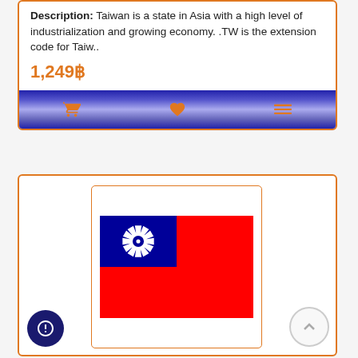Description: Taiwan is a state in Asia with a high level of industrialization and growing economy. .TW is the extension code for Taiw..
1,249฿
[Figure (screenshot): Bottom navigation bar with gradient blue background showing shopping cart, heart/wishlist, and menu icons in orange]
[Figure (illustration): Taiwan national flag (Republic of China flag) showing red background with blue canton in upper left containing white sun with 12 rays]